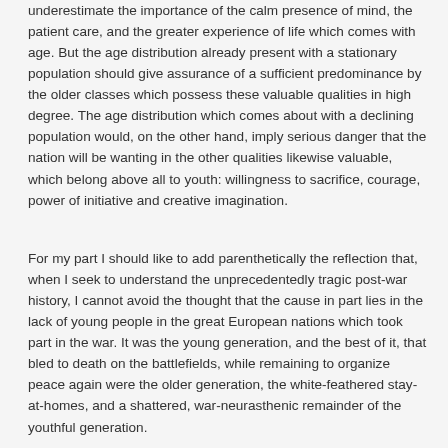underestimate the importance of the calm presence of mind, the patient care, and the greater experience of life which comes with age. But the age distribution already present with a stationary population should give assurance of a sufficient predominance by the older classes which possess these valuable qualities in high degree. The age distribution which comes about with a declining population would, on the other hand, imply serious danger that the nation will be wanting in the other qualities likewise valuable, which belong above all to youth: willingness to sacrifice, courage, power of initiative and creative imagination.
For my part I should like to add parenthetically the reflection that, when I seek to understand the unprecedentedly tragic post-war history, I cannot avoid the thought that the cause in part lies in the lack of young people in the great European nations which took part in the war. It was the young generation, and the best of it, that bled to death on the battlefields, while remaining to organize peace again were the older generation, the white-feathered stay-at-homes, and a shattered, war-neurasthenic remainder of the youthful generation.